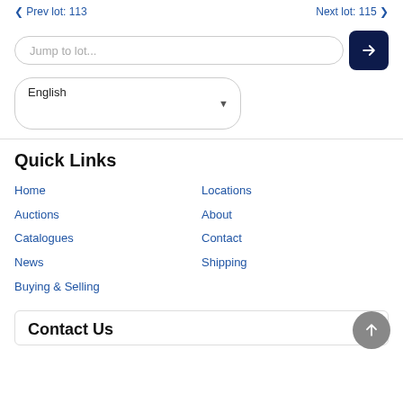< Prev lot: 113    Next lot: 115 >
Jump to lot...
English (dropdown)
Quick Links
Home
Auctions
Catalogues
News
Buying & Selling
Locations
About
Contact
Shipping
Contact Us